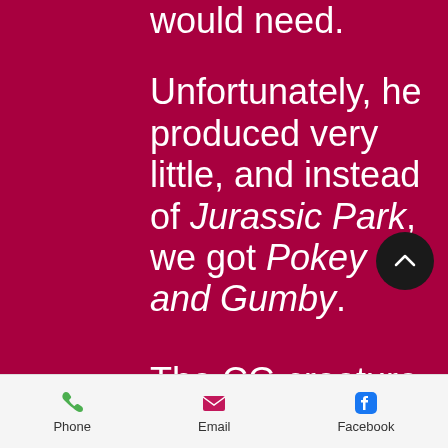would need.
Unfortunately, he produced very little, and instead of Jurassic Park, we got Pokey and Gumby.
The CG creature had been slapped together in the last two weeks before its airdate, and was a complete
Phone  Email  Facebook